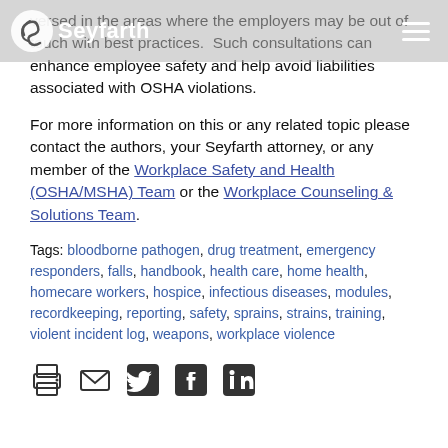Seyfarth
versed in the areas where the employers may be out of touch with best practices.  Such consultations can enhance employee safety and help avoid liabilities associated with OSHA violations.
For more information on this or any related topic please contact the authors, your Seyfarth attorney, or any member of the Workplace Safety and Health (OSHA/MSHA) Team or the Workplace Counseling & Solutions Team.
Tags: bloodborne pathogen, drug treatment, emergency responders, falls, handbook, health care, home health, homecare workers, hospice, infectious diseases, modules, recordkeeping, reporting, safety, sprains, strains, training, violent incident log, weapons, workplace violence
[Figure (infographic): Social sharing icons: print, email, Twitter, Facebook, LinkedIn]